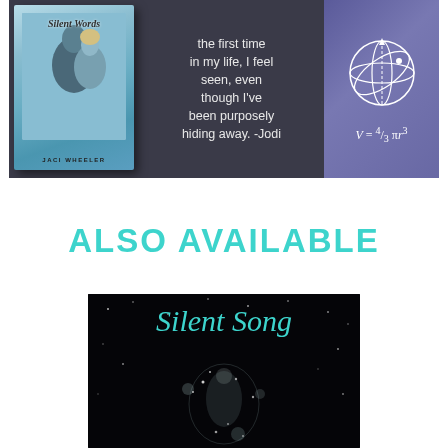[Figure (illustration): Book promotional image for 'Silent Words' by Jaci Wheeler showing the book cover on the left with a couple, a quote in the center reading 'the first time in my life, I feel seen, even though I've been purposely hiding away. -Jodi', and a sphere geometry diagram with formula V = 4/3 πr³ on the right, all on a dark background.]
ALSO AVAILABLE
[Figure (illustration): Book cover for 'Silent Song' showing the title in teal cursive script over a dark/black starry background with a dancer figure in white sparkles.]